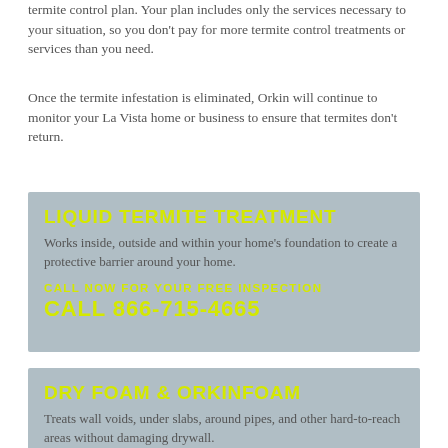termite control plan. Your plan includes only the services necessary to your situation, so you don't pay for more termite control treatments or services than you need.
Once the termite infestation is eliminated, Orkin will continue to monitor your La Vista home or business to ensure that termites don't return.
LIQUID TERMITE TREATMENT
Works inside, outside and within your home's foundation to create a protective barrier around your home.
CALL NOW FOR YOUR FREE INSPECTION
CALL 866-715-4665
DRY FOAM & ORKINFOAM
Treats wall voids, under slabs, around pipes, and other hard-to-reach areas without damaging drywall.
CALL NOW FOR YOUR FREE INSPECTION